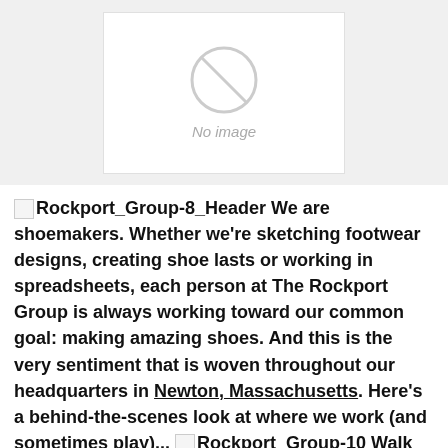[Figure (other): A placeholder image area with a grey background, white card, and 'No image' text with a broken image icon]
[Rockport_Group-8_Header] We are shoemakers. Whether we're sketching footwear designs, creating shoe lasts or working in spreadsheets, each person at The Rockport Group is always working toward our common goal: making amazing shoes. And this is the very sentiment that is woven throughout our headquarters in Newton, Massachusetts. Here's a behind-the-scenes look at where we work (and sometimes play)... [Rockport_Group-10] Walk into our HQ and try missing our manifesto, a description of our